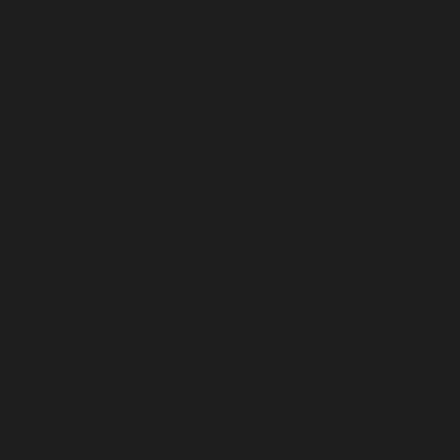I have never had th
Mavegelv
Super cute book wit paper back and hol
Nuadador
We bought this boo received the book, I fact, just about ever completely unorigina animals/letters in he fresh content. I was throughout this boo my money elsewher addition to your chil
Hallolan
Fun way to learn yo